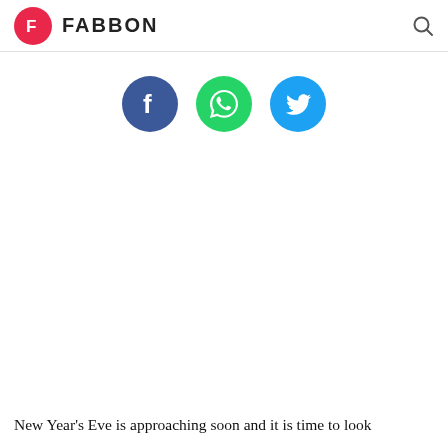FABBON
[Figure (logo): Social media share buttons: Facebook (blue circle with F), WhatsApp (green circle with phone/chat icon), Twitter (blue circle with bird icon)]
New Year's Eve is approaching soon and it is time to look